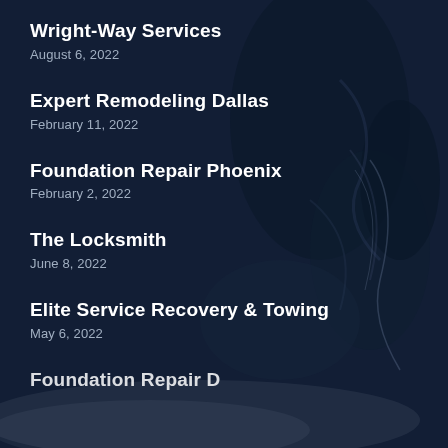Wright-Way Services
August 6, 2022
Expert Remodeling Dallas
February 11, 2022
Foundation Repair Phoenix
February 2, 2022
The Locksmith
June 8, 2022
Elite Service Recovery & Towing
May 6, 2022
Foundation Repair D...